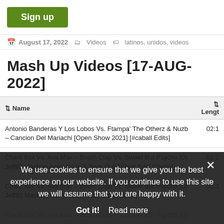[Figure (other): Green 'Sign up' button]
August 17, 2022  Videos  latinos, unidos, videos
Mash Up Videos [17-AUG-2022]
| Name | Lengt |
| --- | --- |
| Antonio Banderas Y Los Lobos Vs. Ftampa' The Otherz & Nuzb – Cancion Del Mariachi [Open Show 2021] [#caball Edits] | 02:1 |
| Charli Xcx Vs. Ava Max – Boom Clap Vs. Sweet But Psycho [Dj Jeff92 Mashup Acapella In & Beat Out] [Short Edit] [Clean] | 02:2 |
| Charli Xcx Vs. Ava Max – Boom Clap Vs. Sweet But Psycho [Dj Jeff92 Mashup Slam Intro] [Short Edit] [Clean] | 02:3 |
| Charli Xcx Vs. Ava Max – Boom Clap Vs. Sweet But Psycho [Dj ... |  |
We use cookies to ensure that we give you the best experience on our website. If you continue to use this site we will assume that you are happy with it.
Got it!  Read more